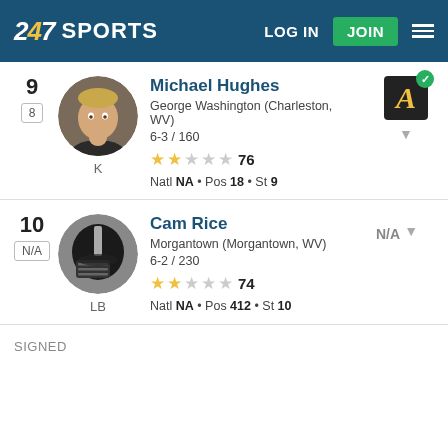247 SPORTS | LOG IN | JOIN
9 | Michael Hughes | George Washington (Charleston, WV) | 6-3 / 160 | Rating: 76 (2 stars) | Natl NA • Pos 18 • St 9 | Position: K | Committed: Appalachian State
10 | Cam Rice | Morgantown (Morgantown, WV) | 6-2 / 230 | Rating: 74 (2 stars) | Natl NA • Pos 412 • St 10 | Position: LB | N/A
SIGNED